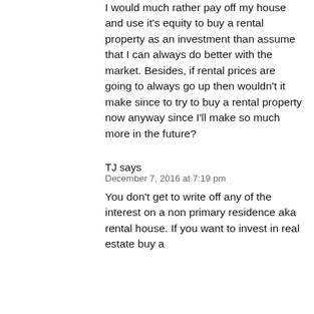I would much rather pay off my house and use it's equity to buy a rental property as an investment than assume that I can always do better with the market. Besides, if rental prices are going to always go up then wouldn't it make since to try to buy a rental property now anyway since I'll make so much more in the future?
TJ says
December 7, 2016 at 7:19 pm
You don't get to write off any of the interest on a non primary residence aka rental house. If you want to invest in real estate buy a